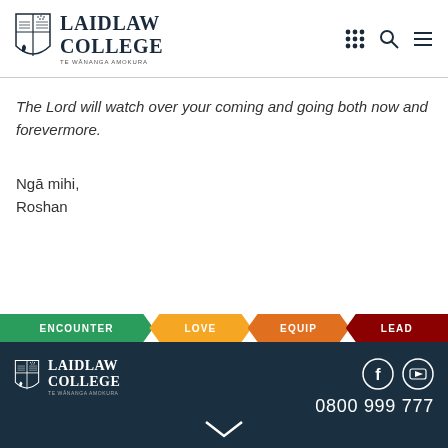Laidlaw College — Te Wānanga Amokura
The Lord will watch over your coming and going both now and forevermore.
Ngā mihi,
Roshan
[Figure (infographic): Banner with four chevron sections: ENCOUNTER (green), LOVE (orange), EQUIP (dark orange), LEAD (dark red)]
Laidlaw College | 0800 999 777